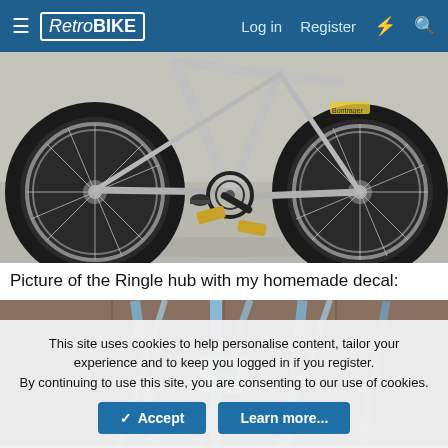RetroBIKE — Log in  Register
[Figure (photo): Close-up photo of a retro mountain bike lower frame, crankset, pedals (gold/brass colored), and both wheels with black knobby tires against a concrete floor background.]
Picture of the Ringle hub with my homemade decal:
[Figure (photo): Close-up photo of a Ringle hub with spokes, showing a homemade decal, with a tile floor in the background.]
This site uses cookies to help personalise content, tailor your experience and to keep you logged in if you register.
By continuing to use this site, you are consenting to our use of cookies.
✓ Accept    Learn more...